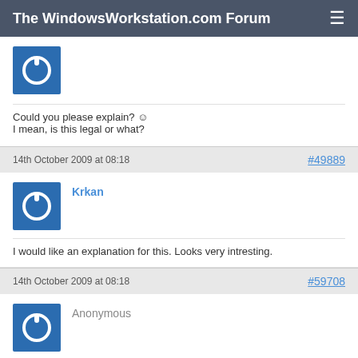The WindowsWorkstation.com Forum
[Figure (illustration): Blue square avatar with white power/circle icon (cropped, top of first post)]
Could you please explain? :) I mean, is this legal or what?
14th October 2009 at 08:18   #49889
[Figure (illustration): Blue square avatar with white power/circle icon for user Krkan]
Krkan
I would like an explanation for this. Looks very intresting.
14th October 2009 at 08:18   #59708
[Figure (illustration): Blue square avatar with white power/circle icon for Anonymous]
Anonymous